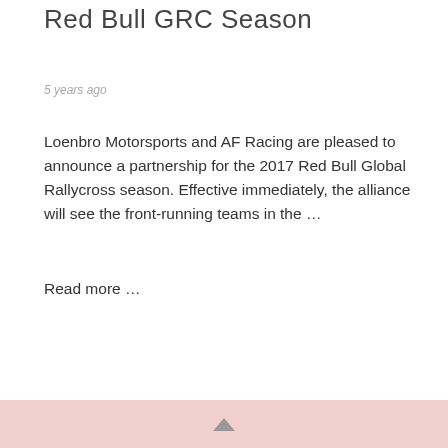Red Bull GRC Season
5 years ago
Loenbro Motorsports and AF Racing are pleased to announce a partnership for the 2017 Red Bull Global Rallycross season. Effective immediately, the alliance will see the front-running teams in the ...
Read more ...